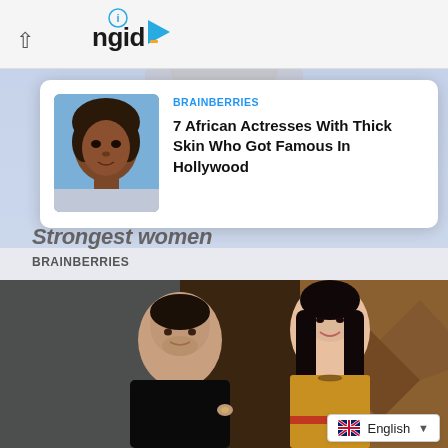[Figure (screenshot): Website screenshot showing a Brainberries ad card overlay on a webpage. Top bar shows an info icon and 'ngid' logo with play button. Below is a content recommendation card with a thumbnail of an African woman and headline about '7 African Actresses With Thick Skin Who Got Famous In Hollywood'. Partial text 'Strongest women' and 'BRAINBERRIES' visible behind the card. Lower half shows a photo of a man in black shirt and a woman in yellow outfit smiling. A language selector showing 'English' with UK flag appears at bottom right.]
BRAINBERRIES
7 African Actresses With Thick Skin Who Got Famous In Hollywood
Strongest women
BRAINBERRIES
English